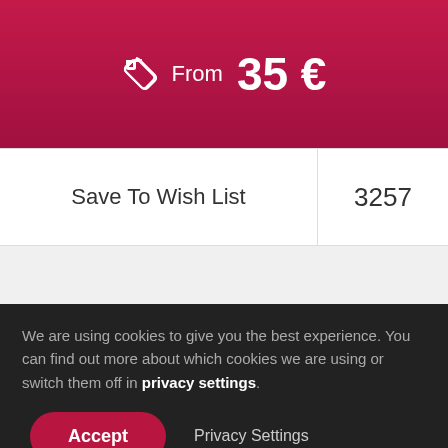[Figure (screenshot): Price tag icon with 'From 35 €' text on crimson/magenta gradient background]
Save To Wish List
3257
We are using cookies to give you the best experience. You can find out more about which cookies we are using or switch them off in privacy settings.
Accept
Privacy Settings